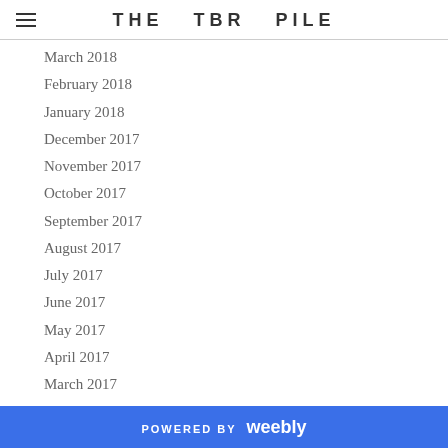THE TBR PILE
March 2018
February 2018
January 2018
December 2017
November 2017
October 2017
September 2017
August 2017
July 2017
June 2017
May 2017
April 2017
March 2017
February 2017
January 2017
December 2016
November 2016
October 2016
POWERED BY weebly